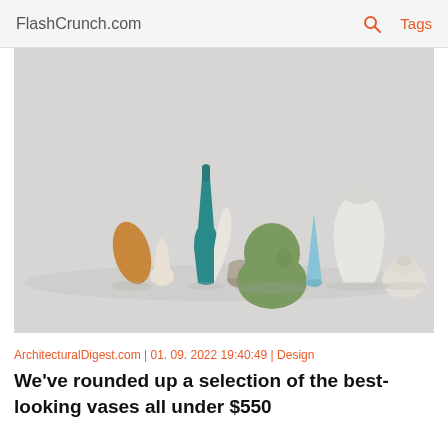FlashCrunch.com   🔍   Tags
[Figure (photo): Collection of decorative ceramic vases in various shapes and colors (teal, white, green, brown, blue, beige, stone) arranged together on a light gray surface against a light gray background.]
ArchitecturalDigest.com | 01. 09. 2022 19:40:49 | Design
We've rounded up a selection of the best-looking vases all under $550